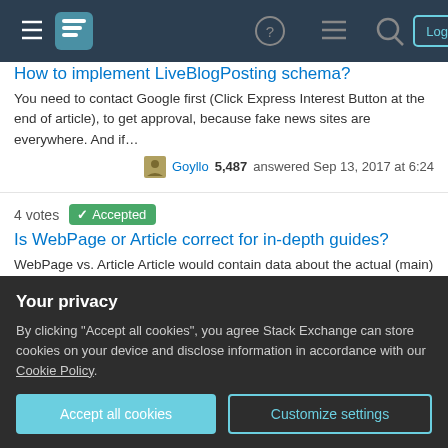[Figure (screenshot): Stack Exchange navigation bar with hamburger menu, logo, help icon, chat icon, search icon, Log in and Sign up buttons]
How to implement LiveBlogPosting schema?
You need to contact Google first (Click Express Interest Button at the end of article), to get approval, because fake news sites are everywhere. And if…
Goyllo 5,487 answered Sep 13, 2017 at 6:24
4 votes  Accepted
Is WebPage or Article correct for in-depth guides?
WebPage vs. Article Article would contain data about the actual (main) content, while WebPage would contain data about the whole page and everything on …
unor 21.5k answered Jun 17, 2014 at 0:21
4 votes
Your privacy
By clicking "Accept all cookies", you agree Stack Exchange can store cookies on your device and disclose information in accordance with our Cookie Policy.
Accept all cookies
Customize settings
4 votes  Accepted